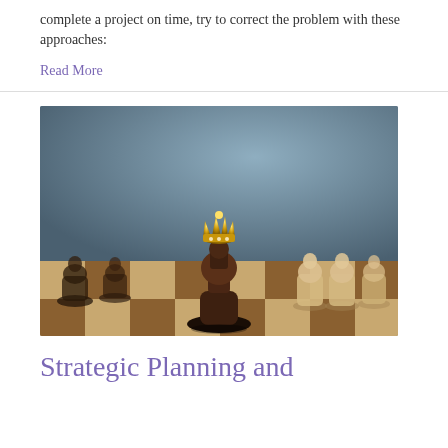complete a project on time, try to correct the problem with these approaches:
Read More
[Figure (photo): A dark wooden chess pawn wearing a gold crown, positioned between rows of dark pawns on the left and light/cream pawns on the right on a chess board. The image has a blurred bokeh background in blue-grey tones.]
Strategic Planning and Leadership: